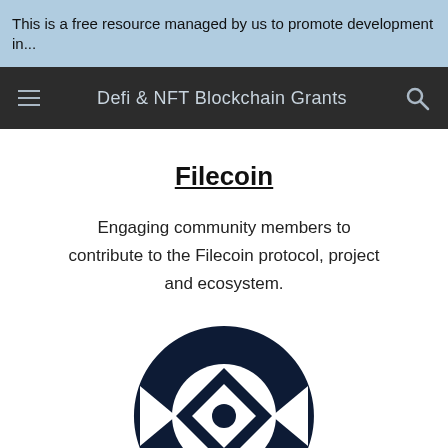This is a free resource managed by us to promote development in...
Defi & NFT Blockchain Grants
Filecoin
Engaging community members to contribute to the Filecoin protocol, project and ecosystem.
[Figure (logo): Filecoin logo — dark navy circular icon with geometric cutouts, partially visible at bottom of page]